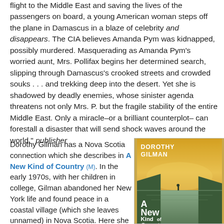flight to the Middle East and saving the lives of the passengers on board, a young American woman steps off the plane in Damascus in a blaze of celebrity and disappears. The CIA believes Amanda Pym was kidnapped, possibly murdered. Masquerading as Amanda Pym's worried aunt, Mrs. Pollifax begins her determined search, slipping through Damascus's crooked streets and crowded souks . . . and trekking deep into the desert. Yet she is shadowed by deadly enemies, whose sinister agenda threatens not only Mrs. P. but the fragile stability of the entire Middle East. Only a miracle–or a brilliant counterplot– can forestall a disaster that will send shock waves around the world." publisher
Dorothy Gilman has a Nova Scotia connection which she describes in A New Kind of Country (M). In the early 1970s, with her children in college, Gilman abandoned her New York life and found peace in a coastal village (which she leaves unnamed) in Nova Scotia. Here she found strength in rural living. "Novelist Dorothy Gilman, author of the
[Figure (illustration): Book cover of 'A New Kind of Country' by Dorothy Gilman. Yellow-orange sky over a coastal landscape with cliffs. White bold text reads: DOROTHY GILMAN at the top and A New Kind of Country in large letters at the bottom.]